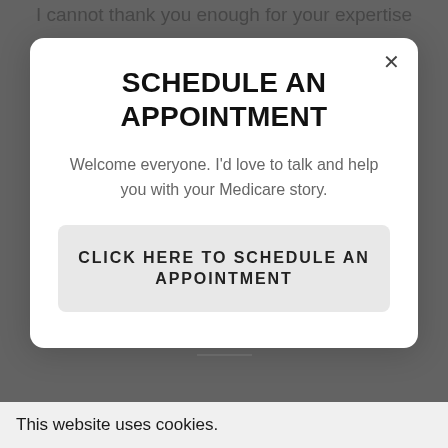I cannot thank you enough for your expertise
SCHEDULE AN APPOINTMENT
Welcome everyone. I'd love to talk and help you with your Medicare story.
CLICK HERE TO SCHEDULE AN APPOINTMENT
CONTACT US
This website uses cookies.